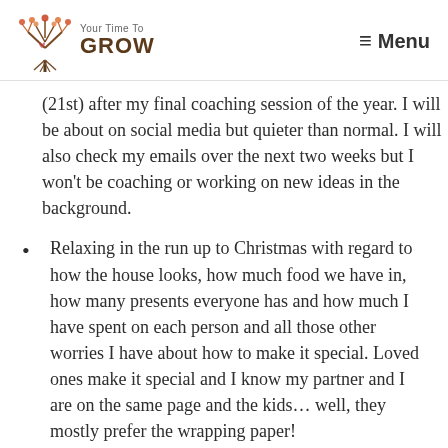Your Time To GROW — Menu
(21st) after my final coaching session of the year. I will be about on social media but quieter than normal. I will also check my emails over the next two weeks but I won't be coaching or working on new ideas in the background.
Relaxing in the run up to Christmas with regard to how the house looks, how much food we have in, how many presents everyone has and how much I have spent on each person and all those other worries I have about how to make it special. Loved ones make it special and I know my partner and I are on the same page and the kids… well, they mostly prefer the wrapping paper!